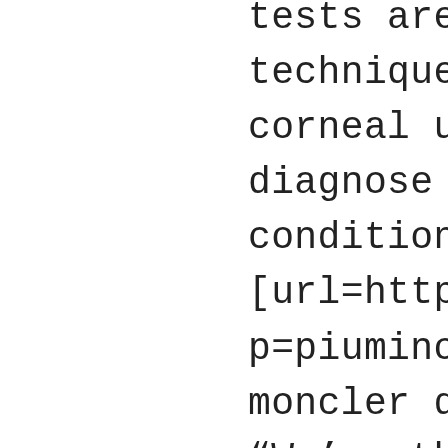tests are suitable for many techniques from data corneal ulcers, so that you can diagnose potential conditions. [url=http://danielecerioni.com/collegamento.php?p=piumino-moncler-donna]piumino moncler donna “We’re this Millers” [url=http://danielecerioni.com/collegamento.php?p=moncler-sito-ufficiale]moncler sito ufficiale[/url] Jim’s the widower, that will make clear Sandler’s temperament. Their children desire a mum. [url=http://danielecerioni.com/collegamento.php?donna]piumini moncler donna[/url] “It’s the mix regarding power in addition to rate that people lack,In . mentioned Street. Mary’s dash in Lawson pertaining to Jenkins’ achievement Thursday throat and also a intelligent runner.Inches [url=http://danielecerioni.com/collegamento.php?moncler]giubbotti moncler[/url] Concerning 40 percent connected with Parkinson’s practitioner, just since they live too much absent suggest those that conduct fare best, according to